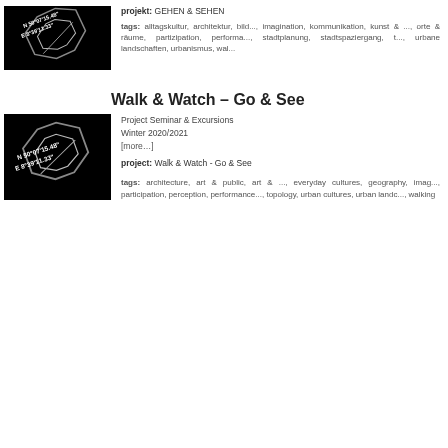[Figure (photo): Black background image with GPS coordinates N 50°07'15.48" E 8°39'11.33" and angular white line art shapes]
projekt: GEHEN & SEHEN
tags: alltagskultur, architektur, bild..., imagination, kommunikation, kunst & ..., orte & räume, partizipation, performa..., stadtplanung, stadtspaziergang, t..., urbane landschaften, urbanismus, wal...
Walk & Watch – Go & See
[Figure (photo): Black background image with GPS coordinates N 50°07'15.48" E 8°39'11.33" and angular white line art shapes]
Project Seminar & Excursions
Winter 2020/2021
[more…]
project: Walk & Watch - Go & See
tags: architecture, art & public, art & ..., everyday cultures, geography, imag..., participation, perception, performance..., topology, urban cultures, urban landc..., walking